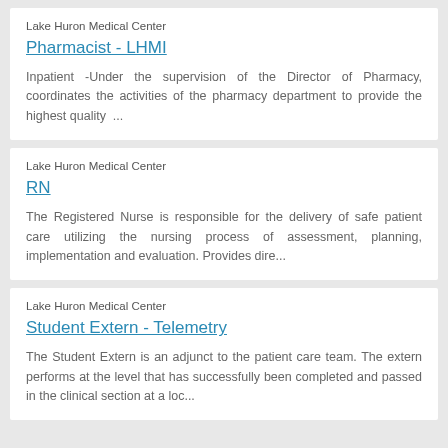Lake Huron Medical Center
Pharmacist - LHMI
Inpatient -Under the supervision of the Director of Pharmacy, coordinates the activities of the pharmacy department to provide the highest quality ...
Lake Huron Medical Center
RN
The Registered Nurse is responsible for the delivery of safe patient care utilizing the nursing process of assessment, planning, implementation and evaluation. Provides dire...
Lake Huron Medical Center
Student Extern - Telemetry
The Student Extern is an adjunct to the patient care team. The extern performs at the level that has successfully been completed and passed in the clinical section at a loc...